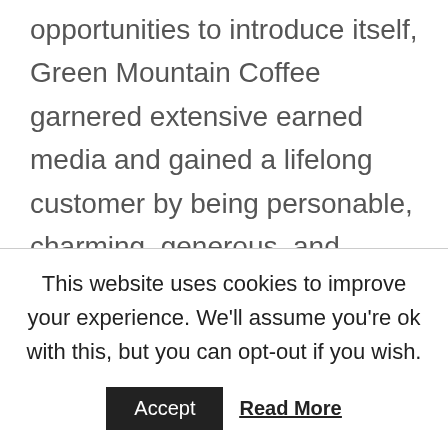opportunities to introduce itself, Green Mountain Coffee garnered extensive earned media and gained a lifelong customer by being personable, charming, generous, and above all, real, with a perfect stranger. As any good matchmaker knows, when two people are reluctant to meet, you sometimes need to find a way to firmly nudge them into the same room so
This website uses cookies to improve your experience. We'll assume you're ok with this, but you can opt-out if you wish.
Accept   Read More